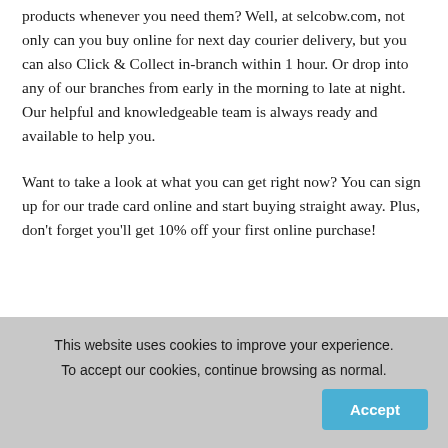products whenever you need them? Well, at selcobw.com, not only can you buy online for next day courier delivery, but you can also Click & Collect in-branch within 1 hour. Or drop into any of our branches from early in the morning to late at night. Our helpful and knowledgeable team is always ready and available to help you.
Want to take a look at what you can get right now? You can sign up for our trade card online and start buying straight away. Plus, don't forget you'll get 10% off your first online purchase!
This website uses cookies to improve your experience. To accept our cookies, continue browsing as normal.